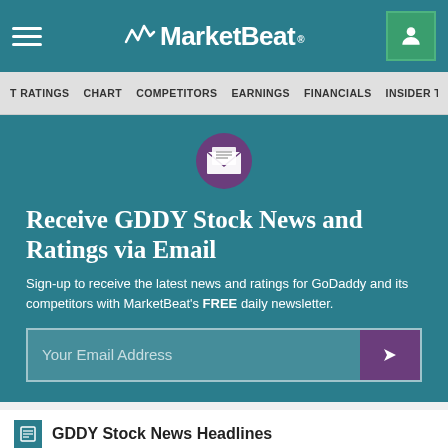MarketBeat
T RATINGS  CHART  COMPETITORS  EARNINGS  FINANCIALS  INSIDER TR>DES
[Figure (illustration): Email newsletter icon with envelope and document, purple circular badge]
Receive GDDY Stock News and Ratings via Email
Sign-up to receive the latest news and ratings for GoDaddy and its competitors with MarketBeat's FREE daily newsletter.
Your Email Address
GDDY Stock News Headlines
AUGUST 10, 2020 | FINANCE.YAHOO.COM